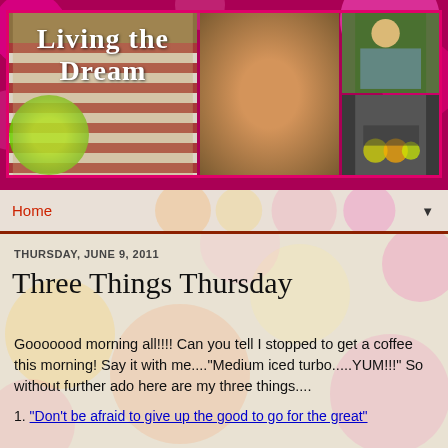[Figure (photo): Blog header banner with pink/magenta bokeh background showing a collage of three photos: left photo shows green running shoes and an American flag on a sandy/rocky surface with text 'Living the Dream' overlay; center photo shows a smiling blonde woman in a black tank top against green background; right column has two smaller photos of people exercising with kettlebells.]
Home
THURSDAY, JUNE 9, 2011
Three Things Thursday
Gooooood morning all!!!! Can you tell I stopped to get a coffee this morning! Say it with me...."Medium iced turbo.....YUM!!!" So without further ado here are my three things....
1. "Don't be afraid to give up the good to go for the great"